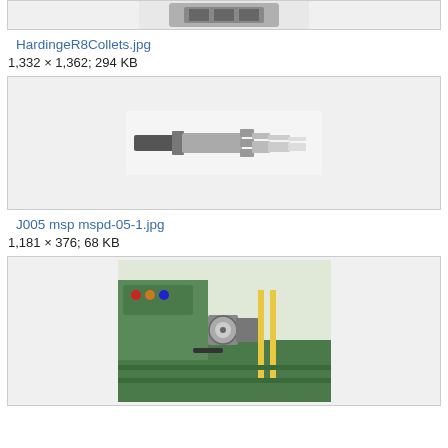[Figure (photo): Top portion of a collets image, partially visible at the top of the page]
HardingeR8Collets.jpg
1,332 × 1,362; 294 KB
[Figure (photo): Photo of a collet tool assembly - a cylindrical metal tool with multiple collet segments]
J005 msp mspd-05-1.jpg
1,181 × 376; 68 KB
[Figure (photo): Photo of a green lathe machine with a collet chuck assembly, showing the spindle area with yellow rods]